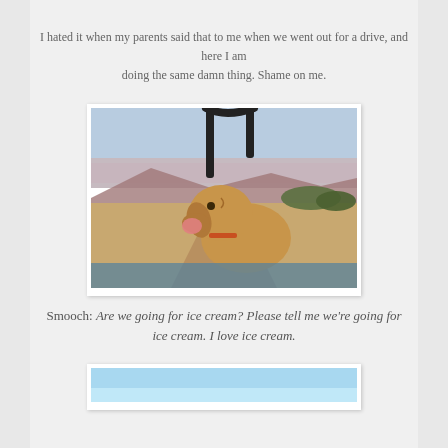I hated it when my parents said that to me when we went out for a drive, and here I am doing the same damn thing. Shame on me.
[Figure (photo): A dog leaning out of a vehicle, mouth open, looking at a desert landscape with mountains and shrubs in the background at dusk.]
Smooch: Are we going for ice cream? Please tell me we're going for ice cream. I love ice cream.
[Figure (photo): Partial view of another photo at the bottom of the page, showing a light blue/sky scene.]